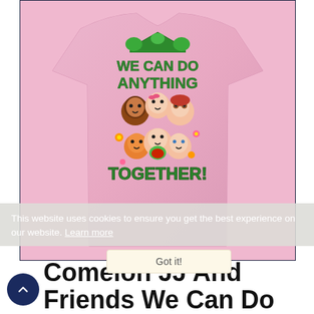[Figure (photo): Pink children's t-shirt with CoComelon graphic reading 'We Can Do Anything Together!' featuring JJ and friends cartoon characters under a green house graphic with flowers]
This website uses cookies to ensure you get the best experience on our website. Learn more
Got it!
CoComelon JJ And Friends We Can Do